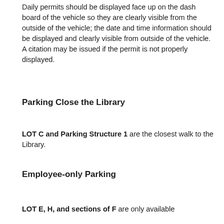Daily permits should be displayed face up on the dash board of the vehicle so they are clearly visible from the outside of the vehicle; the date and time information should be displayed and clearly visible from outside of the vehicle. A citation may be issued if the permit is not properly displayed.
Parking Close the Library
LOT C and Parking Structure 1 are the closest walk to the Library.
Employee-only Parking
LOT E, H, and sections of F are only available